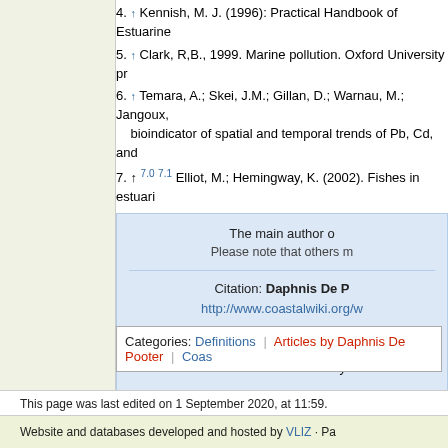4. ↑ Kennish, M. J. (1996): Practical Handbook of Estuarine
5. ↑ Clark, R,B., 1999. Marine pollution. Oxford University pr
6. ↑ Temara, A.; Skei, J.M.; Gillan, D.; Warnau, M.; Jangoux, bioindicator of spatial and temporal trends of Pb, Cd, and
7. ↑ 7.0 7.1 Elliot, M.; Hemingway, K. (2002). Fishes in estuari
The main author o
Please note that others m
Citation: Daphnis De P
http://www.coastalwiki.org/w
For other articles by this author see Catego
For an overview of contributions by this au
Categories: Definitions | Articles by Daphnis De Pooter | Coas
This page was last edited on 1 September 2020, at 11:59.
Privacy policy   About MarineSpecies Traits Wiki   Disclaimers
Website and databases developed and hosted by VLIZ · Pa